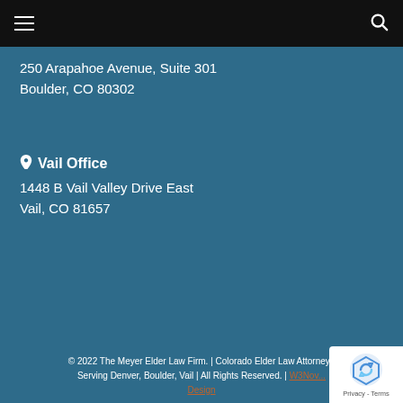Navigation bar with hamburger menu and search icon
250 Arapahoe Avenue, Suite 301
Boulder, CO 80302
⊙ Vail Office
1448 B Vail Valley Drive East
Vail, CO 81657
© 2022 The Meyer Elder Law Firm. | Colorado Elder Law Attorney | Serving Denver, Boulder, Vail | All Rights Reserved. | W3Nov... Design